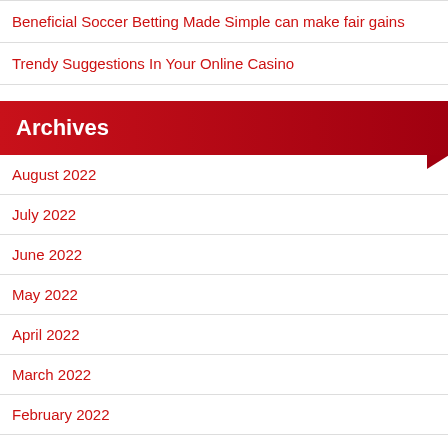Beneficial Soccer Betting Made Simple can make fair gains
Trendy Suggestions In Your Online Casino
Archives
August 2022
July 2022
June 2022
May 2022
April 2022
March 2022
February 2022
January 2022